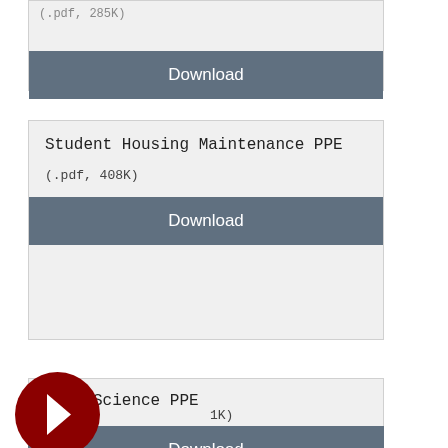[Figure (screenshot): Partial download card at top, showing file info (.pdf, 285K) and a Download button]
Student Housing Maintenance PPE
(.pdf, 408K)
Download
Fire Science PPE
1K)
Download
[Figure (other): Dark red circular navigation arrow button pointing right]